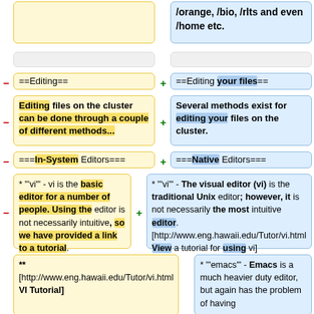/orange, /bio, /rlts and even /home etc.
==Editing==
==Editing your files==
Editing files on the cluster can be done through a couple of different methods...
Several methods exist for editing your files on the cluster.
===In-System Editors===
===Native Editors===
* "'vi'" - vi is the basic editor for a number of people. Using the editor is not necessarily intuitive, so we have provided a link to a tutorial.
* "'vi'" - The visual editor (vi) is the traditional Unix editor; however, it is not necessarily the most intuitive editor. [http://www.eng.hawaii.edu/Tutor/vi.html View a tutorial for using vi]
**
[http://www.eng.hawaii.edu/Tutor/vi.html VI Tutorial]
* "'emacs'" - Emacs is a much heavier duty editor, but again has the problem of having